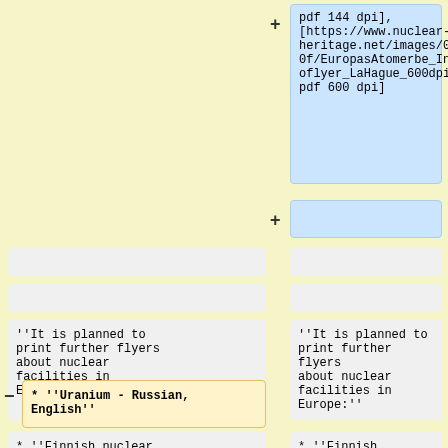+ pdf 144 dpi], [https://www.nuclear-heritage.net/images/0/0f/EuropasAtomerbe_Infoflyer_LaHague_600dpi.pdf 600 dpi]
+
''It is planned to print further flyers about nuclear facilities in Europe:''
''It is planned to print further flyers about nuclear facilities in Europe:''
* ''Uranium - Russian, English''
* ''Finnish nuclear sites - Finnish,
* ''Finnish nuclear sites - Finnish,